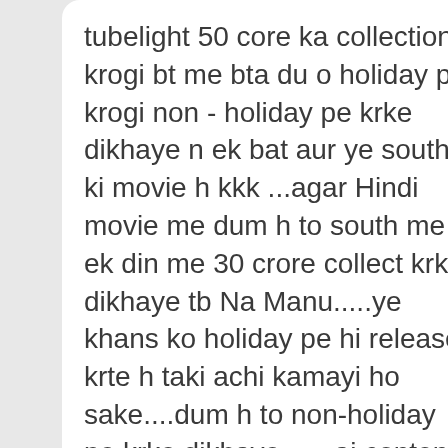tubelight 50 core ka collection krogi bt me bta du o holiday pe krogi non - holiday pe krke dikhaye n ek bat aur ye south ki movie h kkk ...agar Hindi movie me dum h to south me ek din me 30 crore collect krke dikhaye tb Na Manu.....ye khans ko holiday pe hi release krte h taki achi kamayi ho sake....dum h to non-holiday pe krke dikhaye ......aj content ka zamana h ....star power ka ni.......ek din ka collection 100...